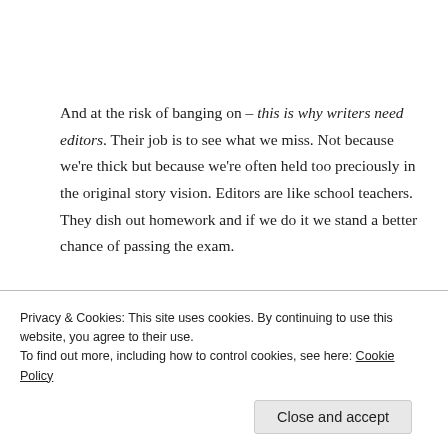And at the risk of banging on – this is why writers need editors. Their job is to see what we miss. Not because we're thick but because we're often held too preciously in the original story vision. Editors are like school teachers. They dish out homework and if we do it we stand a better chance of passing the exam.
September is my favourite month. It's the start of autumn and for me the best time to settle into a new writing project. Next Thursday is the first day of the
Privacy & Cookies: This site uses cookies. By continuing to use this website, you agree to their use.
To find out more, including how to control cookies, see here: Cookie Policy
Close and accept